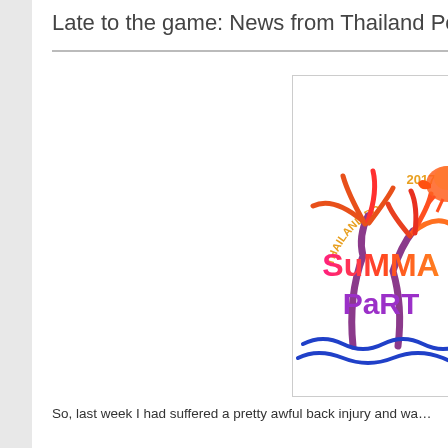Late to the game: News from Thailand Pony C…
[Figure (logo): Thailand Pony Con 2017 Summer Party logo featuring palm trees, a pony/crab figure, wavy text reading SUMMA PART in pink/orange/purple gradient with THAILAND PO 2017 in orange arc text above and blue waves below]
So, last week I had suffered a pretty awful back injury and wa…